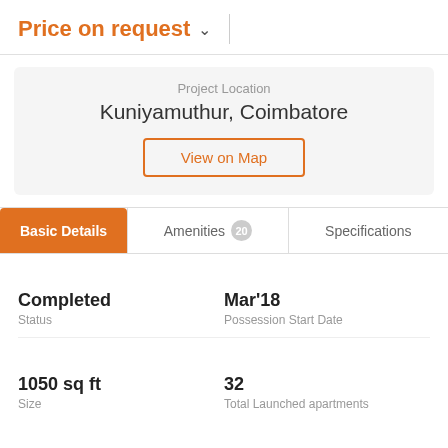Price on request
Project Location
Kuniyamuthur, Coimbatore
View on Map
Basic Details
Amenities 20
Specifications
Completed
Status
Mar'18
Possession Start Date
1050 sq ft
Size
32
Total Launched apartments